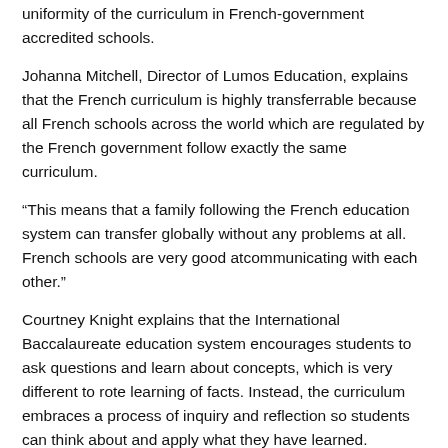uniformity of the curriculum in French-government accredited schools.
Johanna Mitchell, Director of Lumos Education, explains that the French curriculum is highly transferrable because all French schools across the world which are regulated by the French government follow exactly the same curriculum.
“This means that a family following the French education system can transfer globally without any problems at all. French schools are very good atcommunicating with each other.”
Courtney Knight explains that the International Baccalaureate education system encourages students to ask questions and learn about concepts, which is very different to rote learning of facts. Instead, the curriculum embraces a process of inquiry and reflection so students can think about and apply what they have learned.
“There is a lot of importance on languages in both our schools,” she explains. “In the IB at least two languages will be studied and half